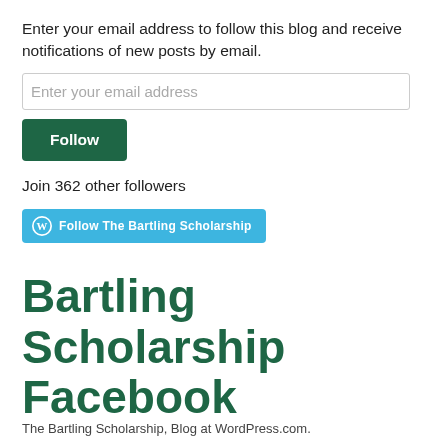Enter your email address to follow this blog and receive notifications of new posts by email.
Join 362 other followers
[Figure (other): Teal button with WordPress logo icon and text 'Follow The Bartling Scholarship']
Bartling Scholarship Facebook
The Bartling Scholarship, Blog at WordPress.com.